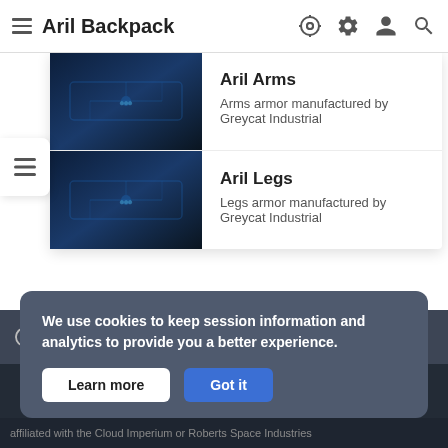Aril Backpack
Aril Arms – Arms armor manufactured by Greycat Industrial
Aril Legs – Legs armor manufactured by Greycat Industrial
Last edited 6 months ago on 26 January 2022 at 19:00
We use cookies to keep session information and analytics to provide you a better experience.
Learn more  Got it
affiliated with the Cloud Imperium or Roberts Space Industries